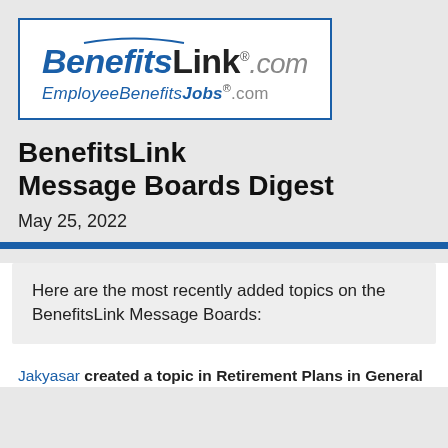[Figure (logo): BenefitsLink.com and EmployeeBenefitsJobs.com logo in a blue-bordered white box]
BenefitsLink Message Boards Digest
May 25, 2022
Here are the most recently added topics on the BenefitsLink Message Boards:
Jakyasar created a topic in Retirement Plans in General